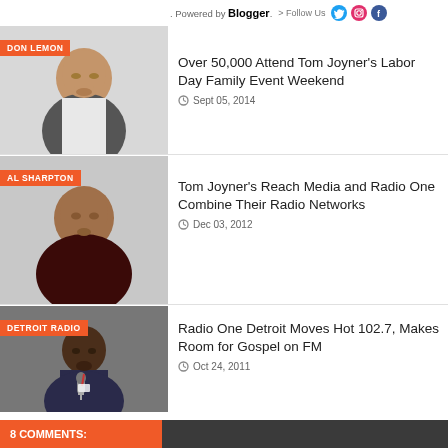Powered by Blogger. > Follow Us
[Figure (photo): Photo of Don Lemon with orange tag label 'DON LEMON']
Over 50,000 Attend Tom Joyner's Labor Day Family Event Weekend
Sept 05, 2014
[Figure (photo): Photo of Al Sharpton with orange tag label 'AL SHARPTON']
Tom Joyner's Reach Media and Radio One Combine Their Radio Networks
Dec 03, 2012
[Figure (photo): Photo of a Detroit radio personality with orange tag label 'DETROIT RADIO']
Radio One Detroit Moves Hot 102.7, Makes Room for Gospel on FM
Oct 24, 2011
8 COMMENTS: